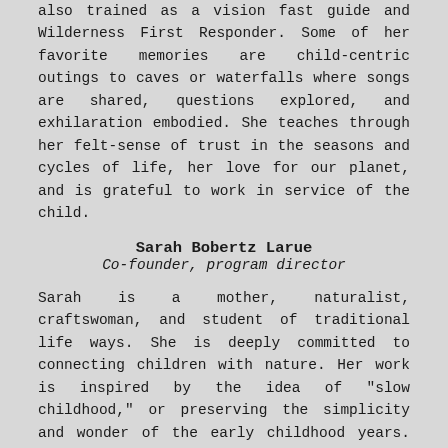also trained as a vision fast guide and Wilderness First Responder. Some of her favorite memories are child-centric outings to caves or waterfalls where songs are shared, questions explored, and exhilaration embodied. She teaches through her felt-sense of trust in the seasons and cycles of life, her love for our planet, and is grateful to work in service of the child.
Sarah Bobertz Larue
Co-founder, program director
Sarah is a mother, naturalist, craftswoman, and student of traditional life ways. She is deeply committed to connecting children with nature. Her work is inspired by the idea of "slow childhood," or preserving the simplicity and wonder of the early childhood years. Sarah holds a Bachelor of Arts degree in Environmental Studies and a focus on ecosystem restoration and conservation